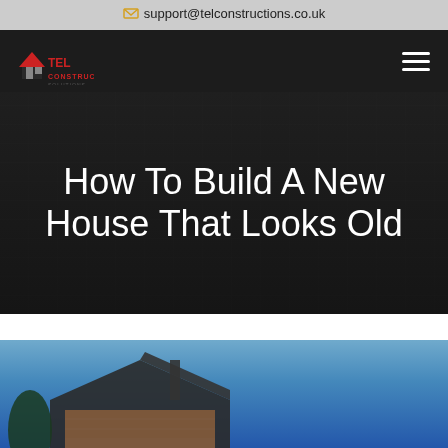020 8158 4000   support@telconstructions.co.uk
[Figure (logo): TEL Construction logo — house icon in red with 'TEL' text, and 'CONSTRUCTION' wordmark]
How To Build A New House That Looks Old
[Figure (photo): Photograph of a modern house with dark roof and wooden cladding against a blue sky]